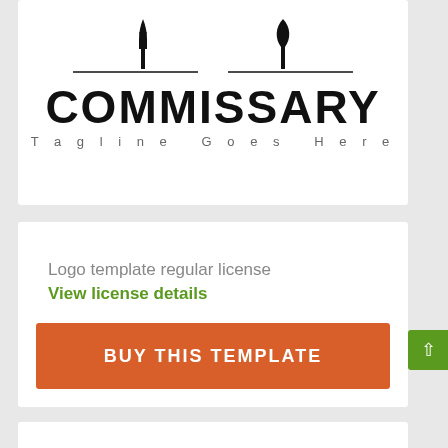[Figure (logo): Commissary restaurant logo with decorative fork and knife icons above horizontal rules, large bold uppercase COMMISSARY text, and spaced tagline 'Tagline Goes Here']
Logo template regular license
View license details
BUY THIS TEMPLATE